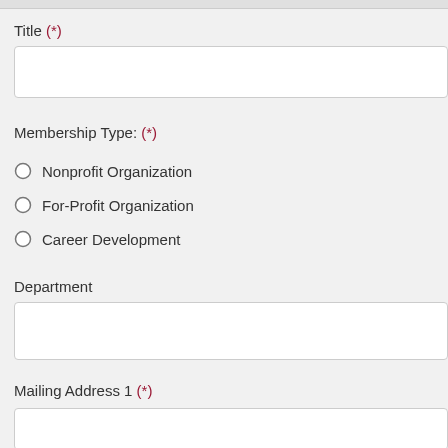Title (*)
Membership Type: (*)
Nonprofit Organization
For-Profit Organization
Career Development
Department
Mailing Address 1 (*)